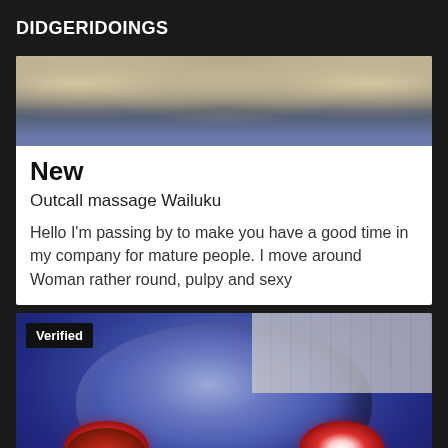DIDGERIDOINGS
[Figure (photo): Partial photo of a person lying on a bed with floral bedding, view from above]
New
Outcall massage Wailuku
Hello I'm passing by to make you have a good time in my company for mature people. I move around Woman rather round, pulpy and sexy
[Figure (photo): Photo showing a person wearing a dark blue latex/rubber mask with red eye openings, with white ceiling paneling visible in the background. A black 'Verified' badge is overlaid in the top left corner.]